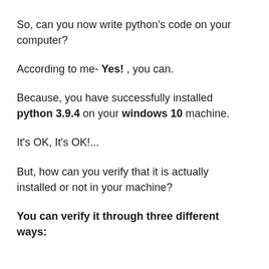So, can you now write python's code on your computer?
According to me- Yes! , you can.
Because, you have successfully installed python 3.9.4 on your windows 10 machine.
It's OK, It's OK!...
But, how can you verify that it is actually installed or not in your machine?
You can verify it through three different ways: